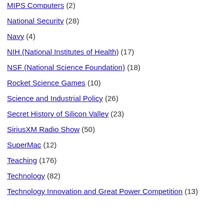MIPS Computers (2)
National Security (28)
Navy (4)
NIH (National Institutes of Health) (17)
NSF (National Science Foundation) (18)
Rocket Science Games (10)
Science and Industrial Policy (26)
Secret History of Silicon Valley (23)
SiriusXM Radio Show (50)
SuperMac (12)
Teaching (176)
Technology (82)
Technology Innovation and Great Power Competition (13)
[Figure (screenshot): Partial screenshot of an embedded video player showing 'Arka So...' title, text about Arka making modular heat pipe-based cooling for LED lighting and electronics cooling, a yellow badge saying 'TOTAL CUSTO... CONTACTED: 8...', and a share/navigation bar at bottom.]